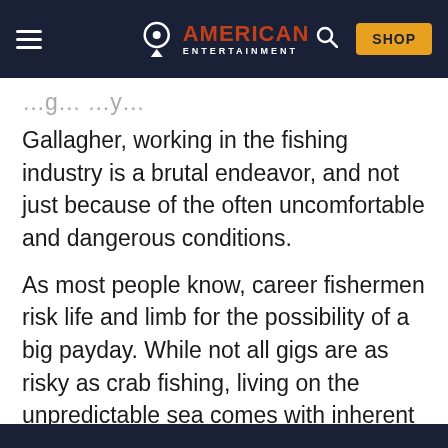American Entertainment — SHOP
Gallagher, working in the fishing industry is a brutal endeavor, and not just because of the often uncomfortable and dangerous conditions.
As most people know, career fishermen risk life and limb for the possibility of a big payday. While not all gigs are as risky as crab fishing, living on the unpredictable sea comes with inherent risks. Some may think that the stressful elements would create some